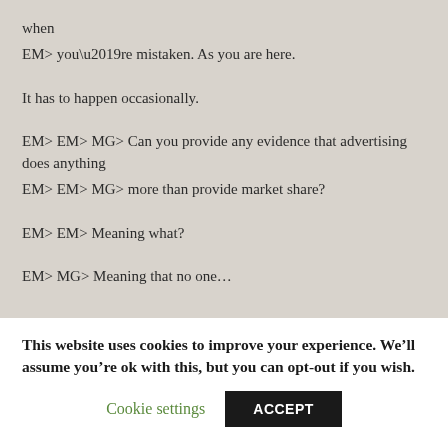when
EM> you’re mistaken. As you are here.
It has to happen occasionally.
EM> EM> MG> Can you provide any evidence that advertising does anything
EM> EM> MG> more than provide market share?
EM> EM> Meaning what?
EM> MG> Meaning that no one…
This website uses cookies to improve your experience. We’ll assume you’re ok with this, but you can opt-out if you wish.
Cookie settings
ACCEPT